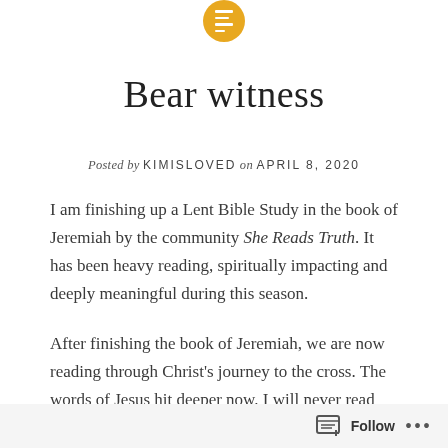[Blog icon – gold circle with white lines]
Bear witness
Posted by KIMISLOVED on APRIL 8, 2020
I am finishing up a Lent Bible Study in the book of Jeremiah by the community She Reads Truth. It has been heavy reading, spiritually impacting and deeply meaningful during this season.
After finishing the book of Jeremiah, we are now reading through Christ's journey to the cross. The words of Jesus hit deeper now. I will never read the Holy Week scriptures the same again!
Follow ...